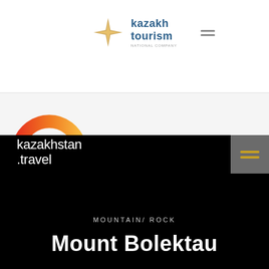[Figure (logo): Kazakh Tourism logo with diamond star icon and blue text 'kazakh tourism' with tagline]
[Figure (logo): Orange and red gradient arc/semicircle logo for kazakhstan.travel website]
kazakhstan.travel
MOUNTAIN/ ROCK
Mount Bolektau